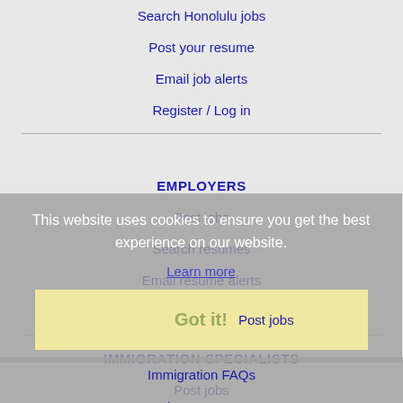Search Honolulu jobs
Post your resume
Email job alerts
Register / Log in
EMPLOYERS
Post jobs
Search resumes
Email resume alerts
Advertise
This website uses cookies to ensure you get the best experience on our website.
Learn more
IMMIGRATION SPECIALISTS
Got it!
Post jobs
Immigration FAQs
Learn more